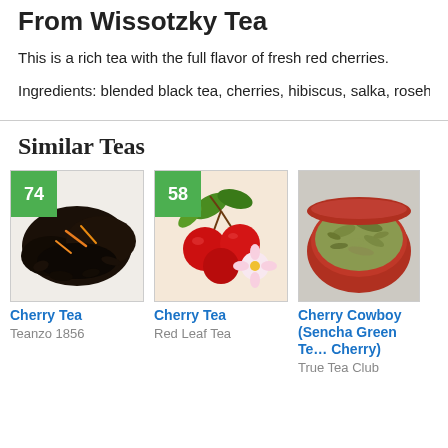From Wissotzky Tea
This is a rich tea with the full flavor of fresh red cherries.
Ingredients: blended black tea, cherries, hibiscus, salka, rosehip, cherr…
Similar Teas
[Figure (photo): Score badge '74' (green) over photo of dark loose-leaf black tea with orange strands]
Cherry Tea
Teanzo 1856
[Figure (photo): Score badge '58' (green) over illustration of red cherries and hibiscus flower on peach background]
Cherry Tea
Red Leaf Tea
[Figure (photo): Photo of green tea leaves in a red bowl, cropped on right]
Cherry Cowboy (Sencha Green Te… Cherry)
True Tea Club